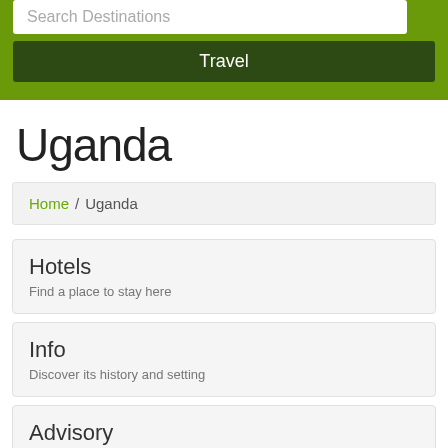[Figure (screenshot): Green header bar with search destinations input and Travel button]
Uganda
Home / Uganda
Hotels
Find a place to stay here
Info
Discover its history and setting
Advisory
Learn what you need to know about travel here
Site issues?  Contact Us